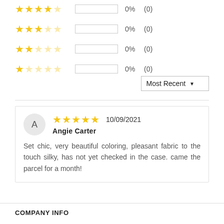4 stars: 0% (0)
3 stars: 0% (0)
2 stars: 0% (0)
1 star: 0% (0)
Most Recent ▼
A  ★★★★★  10/09/2021  Angie Carter  Set chic, very beautiful coloring, pleasant fabric to the touch silky, has not yet checked in the case. came the parcel for a month!
COMPANY INFO